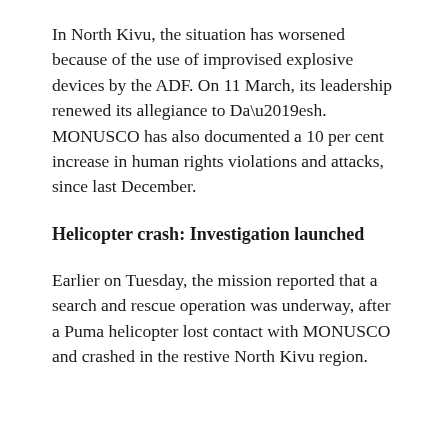In North Kivu, the situation has worsened because of the use of improvised explosive devices by the ADF. On 11 March, its leadership renewed its allegiance to Da’esh. MONUSCO has also documented a 10 per cent increase in human rights violations and attacks, since last December.
Helicopter crash: Investigation launched
Earlier on Tuesday, the mission reported that a search and rescue operation was underway, after a Puma helicopter lost contact with MONUSCO and crashed in the restive North Kivu region.